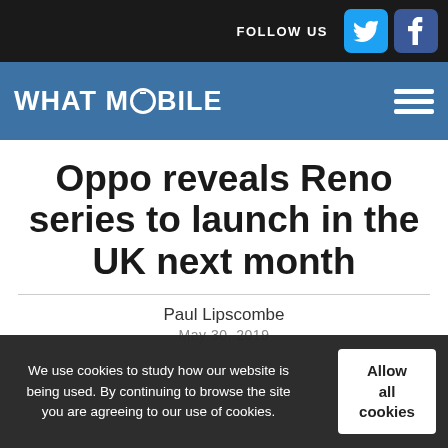FOLLOW US
[Figure (logo): What Mobile website logo with navigation bar]
Oppo reveals Reno series to launch in the UK next month
Paul Lipscombe
We use cookies to study how our website is being used. By continuing to browse the site you are agreeing to our use of cookies.